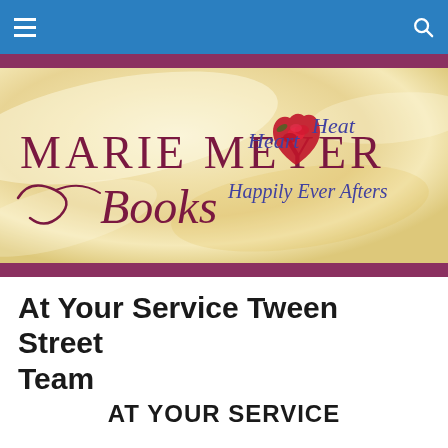Navigation bar with hamburger menu and search icon
[Figure (logo): Marie Meyer Books banner logo on cream/gold silky fabric background. Text reads 'MARIE MEYER Books' in maroon/dark red serif and script fonts, with 'Heart Heat Happily Ever Afters' in purple script text on the right side, and a red rose/heart graphic.]
At Your Service Tween Street Team
AT YOUR SERVICE